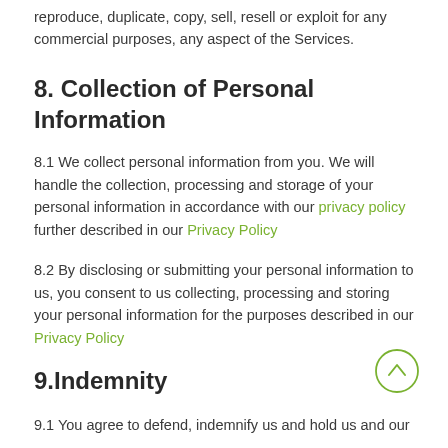reproduce, duplicate, copy, sell, resell or exploit for any commercial purposes, any aspect of the Services.
8. Collection of Personal Information
8.1 We collect personal information from you. We will handle the collection, processing and storage of your personal information in accordance with our privacy policy further described in our Privacy Policy
8.2 By disclosing or submitting your personal information to us, you consent to us collecting, processing and storing your personal information for the purposes described in our Privacy Policy
9.Indemnity
9.1 You agree to defend, indemnify us and hold us and our